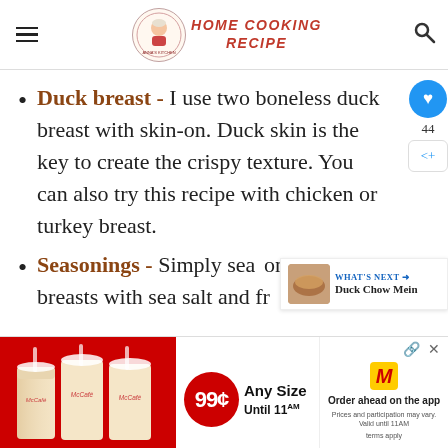HOME COOKING RECIPE
Duck breast - I use two boneless duck breast with skin-on. Duck skin is the key to create the crispy texture. You can also try this recipe with chicken or turkey breast.
Seasonings - Simply season duck breasts with sea salt and fr...
[Figure (screenshot): McDonald's McCafe advertisement banner showing three iced coffee drinks, 99 cent price in red circle, 'Any Size Until 11AM', and 'Order ahead on the app']